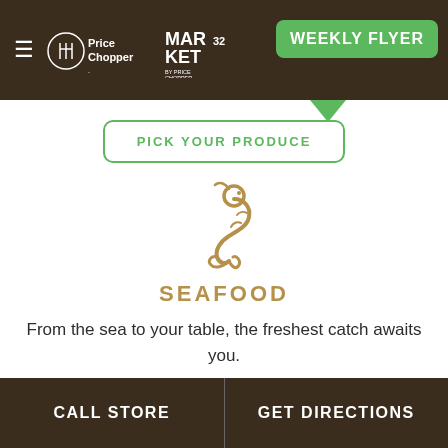Price Chopper / Market by Price Chopper — WEEKLY FLYER
PICK YOUR PRODUCE
[Figure (illustration): Shrimp/prawn icon in gold/tan outline style]
SEAFOOD
From the sea to your table, the freshest catch awaits you.
GO FISHING
CALL STORE | GET DIRECTIONS